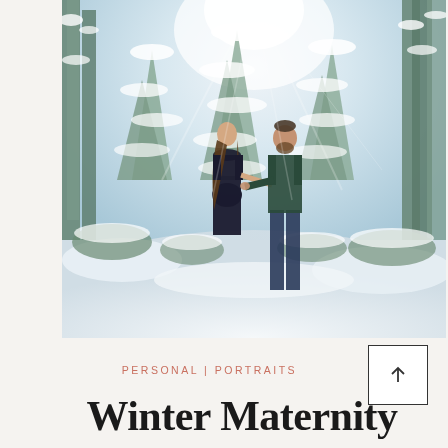[Figure (photo): A couple standing in a snowy winter forest. A woman in a black dress holds hands with a man in a dark green sweater and jeans. Snow-covered pine trees fill the background with soft light filtering through.]
PERSONAL | PORTRAITS
Winter Maternity